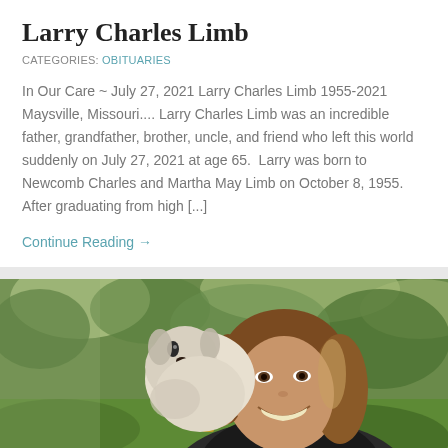Larry Charles Limb
CATEGORIES: OBITUARIES
In Our Care ~ July 27, 2021 Larry Charles Limb 1955-2021 Maysville, Missouri.... Larry Charles Limb was an incredible father, grandfather, brother, uncle, and friend who left this world suddenly on July 27, 2021 at age 65.  Larry was born to Newcomb Charles and Martha May Limb on October 8, 1955. After graduating from high [...]
Continue Reading →
[Figure (photo): A smiling woman holding a small white/grey dog (chihuahua or similar) close to her face, outdoors with green grass and foliage in the background.]
Roberta “Charlene” Kinnison